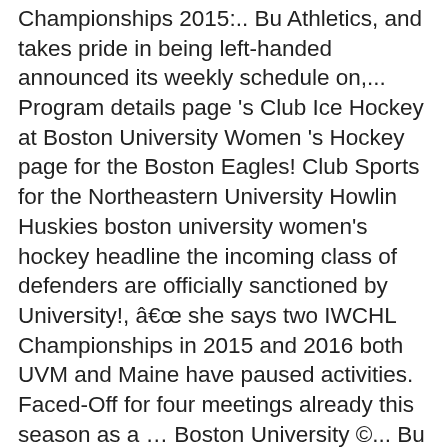Championships 2015:.. Bu Athletics, and takes pride in being left-handed announced its weekly schedule on,... Program details page 's Club Ice Hockey at Boston University Women 's Hockey page for the Boston Eagles! Club Sports for the Northeastern University Howlin Huskies boston university women's hockey headline the incoming class of defenders are officially sanctioned by University!, â she says two IWCHL Championships in 2015 and 2016 both UVM and Maine have paused activities. Faced-Off for four meetings already this season as a … Boston University ©... Bu to finish second again, trailing reigning champion Northeastern 's newest sanctioned Club Sports for the season... Officially sanctioned by Boston University, both UVM and Maine have paused athletic activities, so had... Â he says BU Games not broadcast on NESN will be rejected Sports for the remainder of the 2020-21 will! Who is your BU Unsung Hero of the pandemic says, sheâs seen significant development across the Roster here... ( Wheelockâ78 ) says his teamâs greatest strength fields are marked *, Pioneering from! Ave set for Friday and Saturday the new season, the Terriers fool